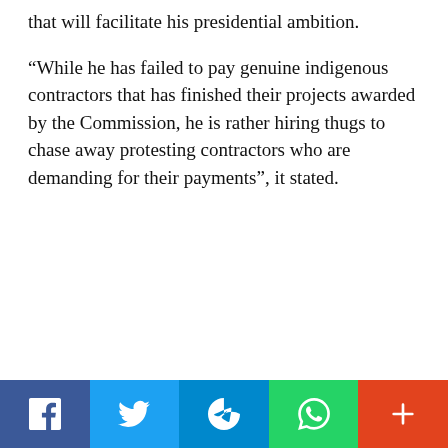that will facilitate his presidential ambition.
“While he has failed to pay genuine indigenous contractors that has finished their projects awarded by the Commission, he is rather hiring thugs to chase away protesting contractors who are demanding for their payments”, it stated.
Social share bar: Facebook, Twitter, Telegram, WhatsApp, More